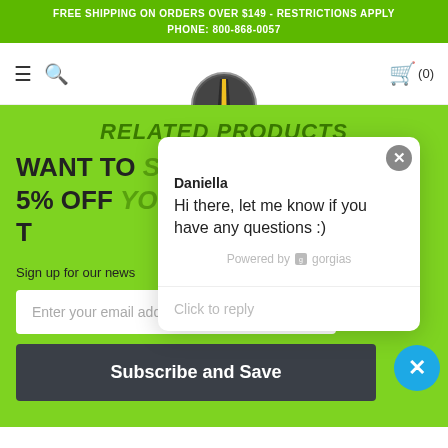FREE SHIPPING ON ORDERS OVER $149 - RESTRICTIONS APPLY
PHONE: 800-868-0057
[Figure (logo): Bostech logo with circular road/highway emblem and yellow/gold stripes on dark background]
RELATED PRODUCTS
WANT TO SAVE AN EXTRA
5% OFF YOUR ORDER
T
Sign up for our news
Enter your email address
Subscribe and Save
[Figure (screenshot): Chat popup from Daniella saying: Hi there, let me know if you have any questions :) — Powered by gorgias — Click to reply]